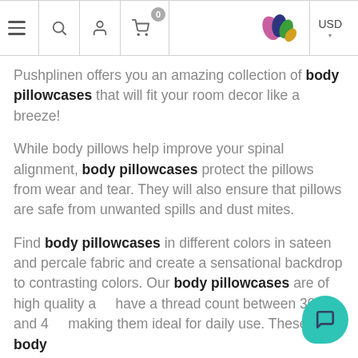Navigation bar with hamburger menu, search, account, cart (0), logo, USD currency selector
Pushplinen offers you an amazing collection of body pillowcases that will fit your room decor like a breeze!
While body pillows help improve your spinal alignment, body pillowcases protect the pillows from wear and tear. They will also ensure that pillows are safe from unwanted spills and dust mites.
Find body pillowcases in different colors in sateen and percale fabric and create a sensational backdrop to contrasting colors. Our body pillowcases are of high quality and have a thread count between 300 and 400 making them ideal for daily use. These body pillowcases...